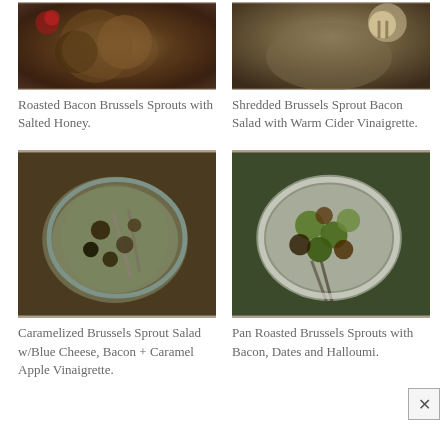[Figure (photo): Top-left food photo showing roasted bacon brussels sprouts dish on a plate]
[Figure (photo): Top-right food photo showing shredded brussels sprout bacon salad with dressing]
Roasted Bacon Brussels Sprouts with Salted Honey.
Shredded Brussels Sprout Bacon Salad with Warm Cider Vinaigrette.
[Figure (photo): Bottom-left food photo showing caramelized brussels sprout salad on a blue plate with fork]
[Figure (photo): Bottom-right food photo showing pan roasted brussels sprouts with bacon, dates and halloumi on a white plate]
Caramelized Brussels Sprout Salad w/Blue Cheese, Bacon + Caramel Apple Vinaigrette.
Pan Roasted Brussels Sprouts with Bacon, Dates and Halloumi.